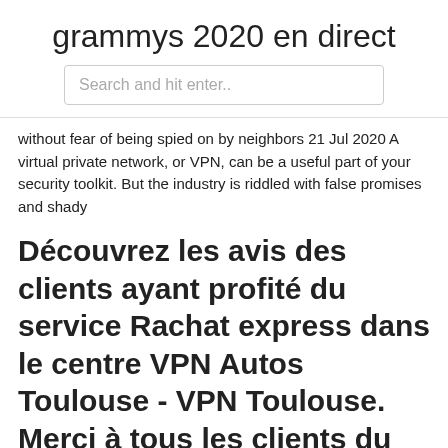grammys 2020 en direct
Search and hit enter..
without fear of being spied on by neighbors 21 Jul 2020 A virtual private network, or VPN, can be a useful part of your security toolkit. But the industry is riddled with false promises and shady
Découvrez les avis des clients ayant profité du service Rachat express dans le centre VPN Autos Toulouse - VPN Toulouse. Merci à tous les clients du centre VPN Autos Toulouse - VPN Toulouse de nous avoir fait confiance et d'avoir témoigné de leur satisfaction lors de l'achat d'une auto auprès de